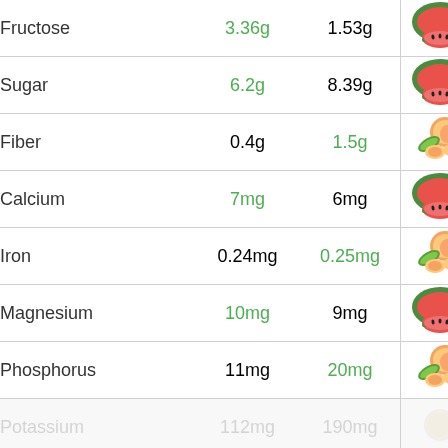| Nutrient | Value 1 | Value 2 | Fruit |
| --- | --- | --- | --- |
| Fructose | 3.36g | 1.53g | watermelon |
| Sugar | 6.2g | 8.39g | watermelon |
| Fiber | 0.4g | 1.5g | peach |
| Calcium | 7mg | 6mg | watermelon |
| Iron | 0.24mg | 0.25mg | peach |
| Magnesium | 10mg | 9mg | watermelon |
| Phosphorus | 11mg | 20mg | peach |
| Potassium | 112mg | 190mg | peach-faded |